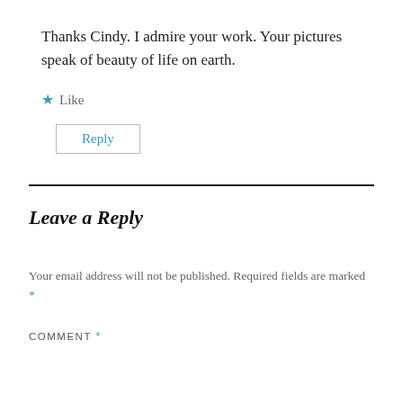Thanks Cindy. I admire your work. Your pictures speak of beauty of life on earth.
★ Like
Reply
Leave a Reply
Your email address will not be published. Required fields are marked *
COMMENT *